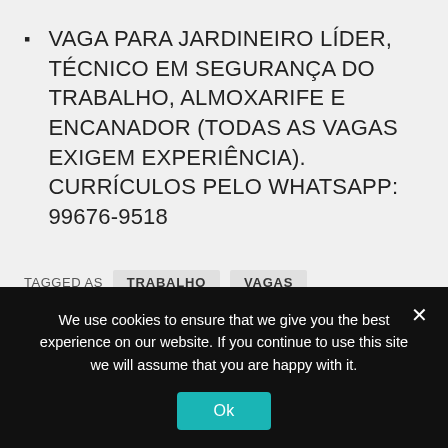VAGA PARA JARDINEIRO LÍDER, TÉCNICO EM SEGURANÇA DO TRABALHO, ALMOXARIFE E ENCANADOR (TODAS AS VAGAS EXIGEM EXPERIÊNCIA). CURRÍCULOS PELO WHATSAPP: 99676-9518
TAGGED AS  TRABALHO  VAGAS
We use cookies to ensure that we give you the best experience on our website. If you continue to use this site we will assume that you are happy with it.